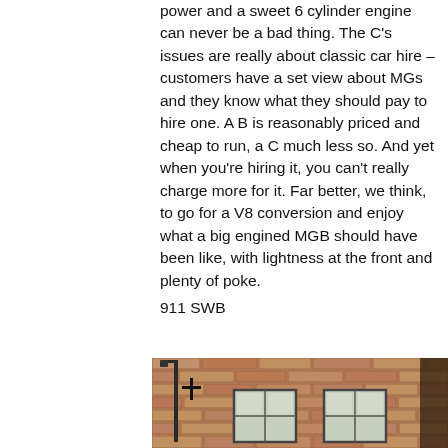power and a sweet 6 cylinder engine can never be a bad thing. The C's issues are really about classic car hire – customers have a set view about MGs and they know what they should pay to hire one. A B is reasonably priced and cheap to run, a C much less so. And yet when you're hiring it, you can't really charge more for it. Far better, we think, to go for a V8 conversion and enjoy what a big engined MGB should have been like, with lightness at the front and plenty of poke.
911 SWB
[Figure (photo): A stone brick building facade with two white-framed windows, a lamp post on the left side, and a dark doorway on the right edge.]